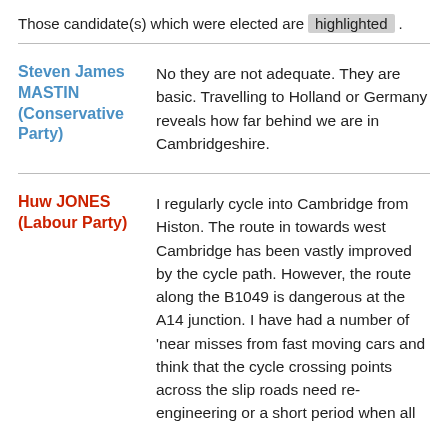Those candidate(s) which were elected are highlighted.
| Candidate | Response |
| --- | --- |
| Steven James MASTIN (Conservative Party) | No they are not adequate. They are basic. Travelling to Holland or Germany reveals how far behind we are in Cambridgeshire. |
| Huw JONES (Labour Party) | I regularly cycle into Cambridge from Histon. The route in towards west Cambridge has been vastly improved by the cycle path. However, the route along the B1049 is dangerous at the A14 junction. I have had a number of 'near misses from fast moving cars and think that the cycle crossing points across the slip roads need re-engineering or a short period when all |